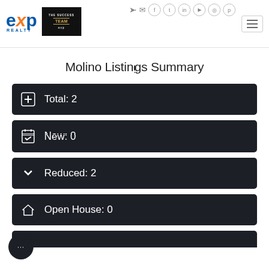[Figure (logo): eXp Realty logo and The Success Team eXp logo in header]
Molino Listings Summary
Total: 2
New: 0
Reduced: 2
Open House: 0